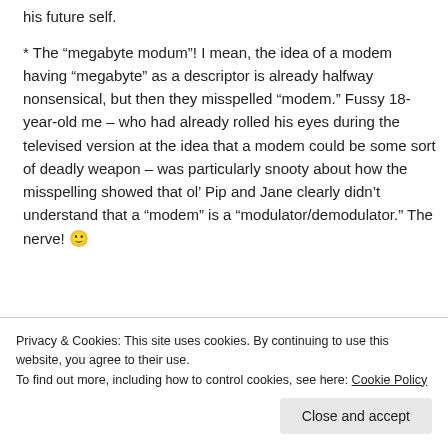his future self.
* The “megabyte modum”! I mean, the idea of a modem having “megabyte” as a descriptor is already halfway nonsensical, but then they misspelled “modem.” Fussy 18-year-old me – who had already rolled his eyes during the televised version at the idea that a modem could be some sort of deadly weapon – was particularly snooty about how the misspelling showed that ol’ Pip and Jane clearly didn’t understand that a “modem” is a “modulator/demodulator.” The nerve! 🙂
Privacy & Cookies: This site uses cookies. By continuing to use this website, you agree to their use. To find out more, including how to control cookies, see here: Cookie Policy
Close and accept